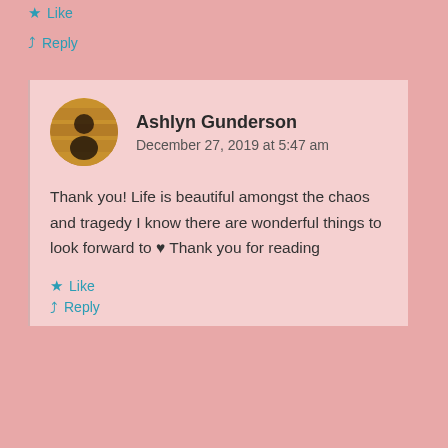★ Like
↳ Reply
Ashlyn Gunderson
December 27, 2019 at 5:47 am
Thank you! Life is beautiful amongst the chaos and tragedy I know there are wonderful things to look forward to ♥ Thank you for reading
★ Like
↳ Reply